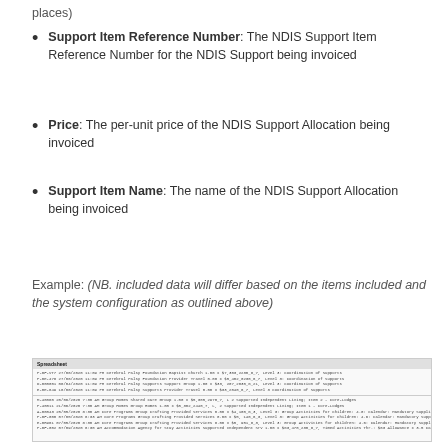places)
Support Item Reference Number: The NDIS Support Item Reference Number for the NDIS Support being invoiced
Price: The per-unit price of the NDIS Support Allocation being invoiced
Support Item Name: The name of the NDIS Support Allocation being invoiced
Example: (NB. included data will differ based on the items included and the system configuration as outlined above)
[Figure (screenshot): Screenshot of a spreadsheet/table showing NDIS support line items with columns for date, time, provider, support category, and support reference numbers]